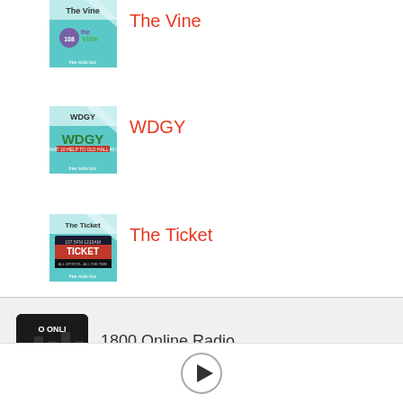[Figure (logo): The Vine radio station logo card with teal/blue background and thevine branding]
The Vine
[Figure (logo): WDGY radio station logo card with teal/blue background and WDGY green text logo]
WDGY
[Figure (logo): The Ticket radio station logo card with teal/blue background and The Ticket 107.5 1210 branding]
The Ticket
[Figure (photo): 1800 Online Radio thumbnail showing radio mixing board with text ONLINE NETWO]
1800 Online Radio
[Figure (other): Play button (triangle in circle)]